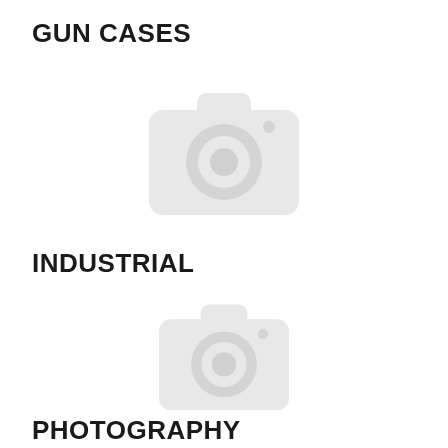GUN CASES
[Figure (photo): Placeholder image with camera icon (no image loaded) for Gun Cases section]
INDUSTRIAL
[Figure (photo): Placeholder image with camera icon (no image loaded) for Industrial section]
PHOTOGRAPHY